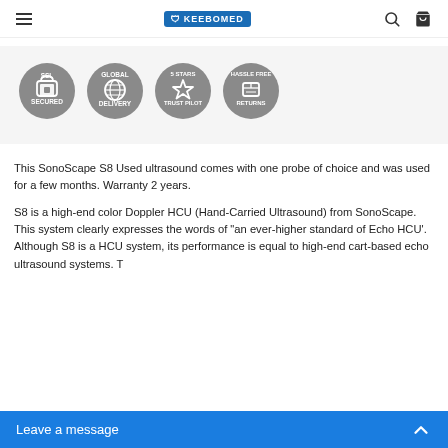KEEBOMED navigation header with menu, logo, search, and cart icons
[Figure (infographic): Four circular grey badge icons: SSL SECURED (padlock), GLOBAL DELIVERY (globe), 5 STARS TRUST PILOT (star), HASSLE FREE RETURNS (box)]
This SonoScape S8 Used ultrasound comes with one probe of choice and was used for a few months. Warranty 2 years.
S8 is a high-end color Doppler HCU (Hand-Carried Ultrasound) from SonoScape.  This system clearly expresses the words of "an ever-higher standard of Echo HCU'.  Although S8 is a HCU system, its performance is equal to high-end cart-based echo ultrasound systems. T… with high configuratio…
Leave a message